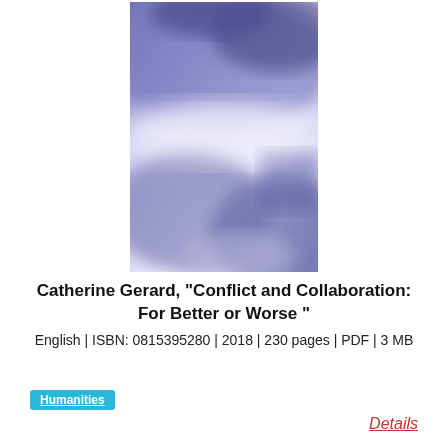[Figure (illustration): Book cover image with blurred purple, blue, and white abstract cloud-like pattern — atmospheric artistic cover]
Catherine Gerard, "Conflict and Collaboration: For Better or Worse "
English | ISBN: 0815395280 | 2018 | 230 pages | PDF | 3 MB
Humanities
Details